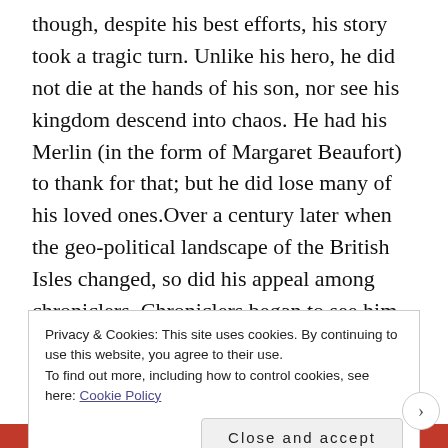though, despite his best efforts, his story took a tragic turn. Unlike his hero, he did not die at the hands of his son, nor see his kingdom descend into chaos. He had his Merlin (in the form of Margaret Beaufort) to thank for that; but he did lose many of his loved ones.Over a century later when the geo-political landscape of the British Isles changed, so did his appeal among chroniclers. Chroniclers began to see him in a negative light, painting him and his mother as a stain in English history and shifting the pendulum to the other side when it came to his rivals (primarily Richard).
Privacy & Cookies: This site uses cookies. By continuing to use this website, you agree to their use.
To find out more, including how to control cookies, see here: Cookie Policy
Close and accept